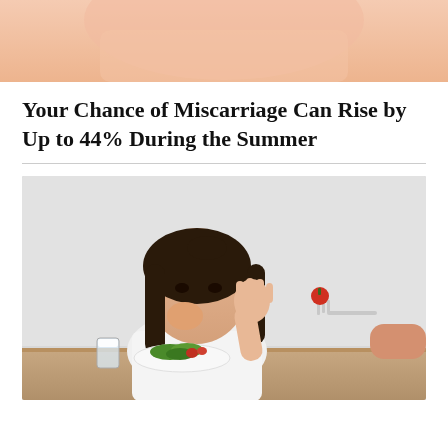[Figure (photo): Cropped top portion of a person wearing a pink/peach top, partial torso view]
Your Chance of Miscarriage Can Rise by Up to 44% During the Summer
[Figure (photo): A young Asian girl in a white shirt sitting at a table with a plate of salad and a glass of milk, covering her mouth with one hand and holding up her other hand in refusal as an adult hand offers a fork with a cherry tomato]